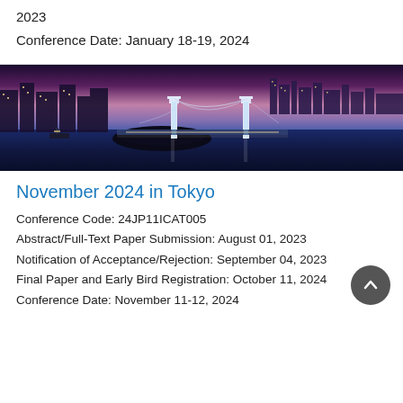2023
Conference Date: January 18-19, 2024
[Figure (photo): Panoramic night photo of Tokyo cityscape featuring the Rainbow Bridge illuminated over Tokyo Bay, with city skyscrapers lit against a purple-pink dusk sky]
November 2024 in Tokyo
Conference Code: 24JP11ICAT005
Abstract/Full-Text Paper Submission: August 01, 2023
Notification of Acceptance/Rejection: September 04, 2023
Final Paper and Early Bird Registration: October 11, 2024
Conference Date: November 11-12, 2024